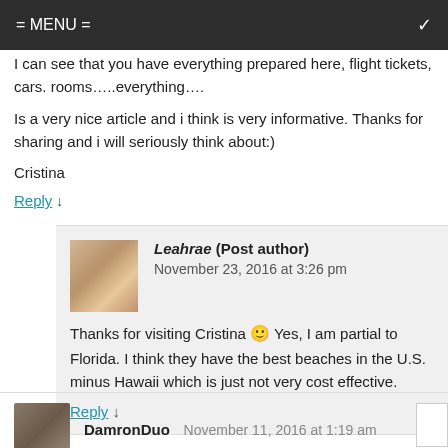= MENU =
I can see that you have everything prepared here, flight tickets, cars. rooms…..everything….
Is a very nice article and i think is very informative. Thanks for sharing and i will seriously think about:)
Cristina
Reply ↓
Leahrae (Post author)
November 23, 2016 at 3:26 pm
Thanks for visiting Cristina 🙂 Yes, I am partial to Florida. I think they have the best beaches in the U.S. minus Hawaii which is just not very cost effective.
Reply ↓
DamronDuo
November 11, 2016 at 1:19 am